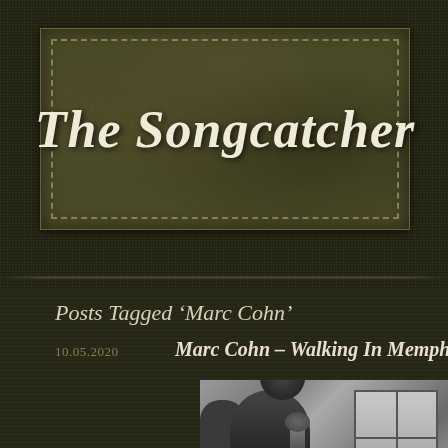The Songcatcher
Posts Tagged ‘Marc Cohn’
10.05.2020
Marc Cohn – Walking In Memphis
[Figure (photo): Black and white photograph of a man (Marc Cohn) at a microphone, with a window visible in the background]